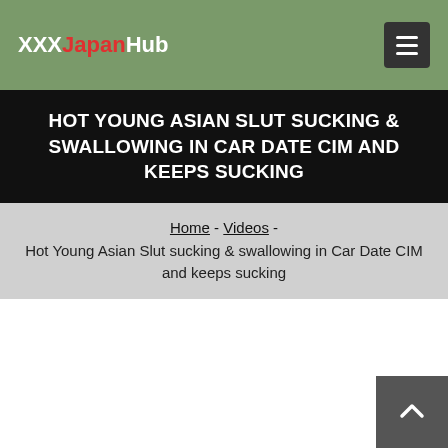XXXJapanHub
HOT YOUNG ASIAN SLUT SUCKING & SWALLOWING IN CAR DATE CIM AND KEEPS SUCKING
Home - Videos - Hot Young Asian Slut sucking & swallowing in Car Date CIM and keeps sucking